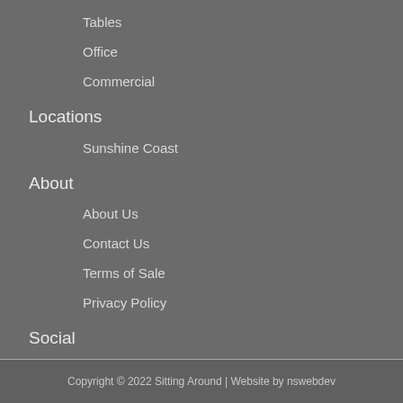Tables
Office
Commercial
Locations
Sunshine Coast
About
About Us
Contact Us
Terms of Sale
Privacy Policy
Social
Coming Soon
Copyright © 2022 Sitting Around | Website by nswebdev